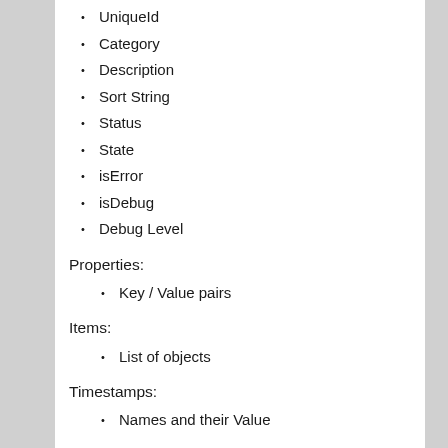UniqueId
Category
Description
Sort String
Status
State
isError
isDebug
Debug Level
Properties:
Key / Value pairs
Items:
List of objects
Timestamps:
Names and their Value
Subject (a Component)
DebugContext:
The DebugContext class knows how to extract and dump specific information about the Context